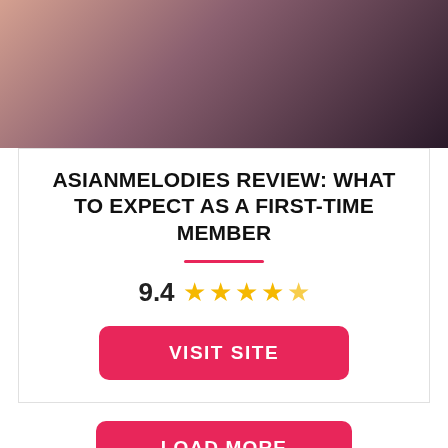[Figure (photo): Partial photo of a woman in a black lacy outfit, dark background]
ASIANMELODIES REVIEW: WHAT TO EXPECT AS A FIRST-TIME MEMBER
9.4 ★★★★★
VISIT SITE
LOAD MORE
LoveFort 4.8 ★★★★★ Visit Site
Sources of information